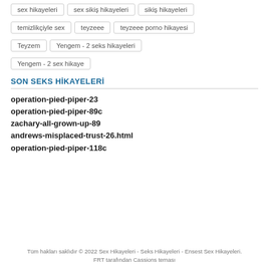sex hikayeleri
sex sikiş hikayeleri
sikiş hikayeleri
temizlikçiyle sex
teyzeee
teyzeee porno hikayesi
Teyzem
Yengem - 2 seks hikayeleri
Yengem - 2 sex hikaye
SON SEKS HİKAYELERİ
operation-pied-piper-23
operation-pied-piper-89c
zachary-all-grown-up-89
andrews-misplaced-trust-26.html
operation-pied-piper-118c
Tüm hakları saklıdır © 2022 Sex Hikayeleri - Seks Hikayeleri - Ensest Sex Hikayeleri.
FRT tarafından Cassions teması